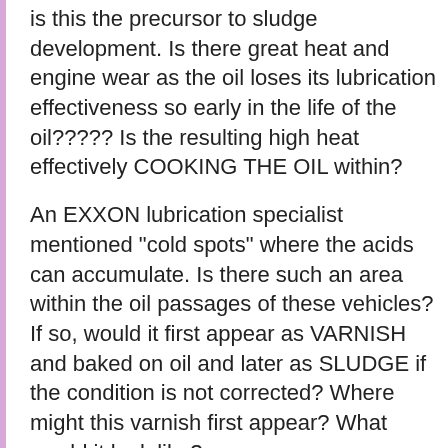is this the precursor to sludge development. Is there great heat and engine wear as the oil loses its lubrication effectiveness so early in the life of the oil????? Is the resulting high heat effectively COOKING THE OIL within?
An EXXON lubrication specialist mentioned "cold spots" where the acids can accumulate. Is there such an area within the oil passages of these vehicles? If so, would it first appear as VARNISH and baked on oil and later as SLUDGE if the condition is not corrected? Where might this varnish first appear? What would it look like?
Please, technicians and oil specialists, please chime in. We need a good, analytical discussion as we had a Edmund's before I the discussion was abruptly CLOSED.
Is the causing the...